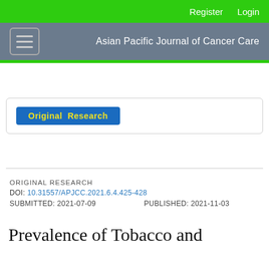Register   Login
Asian Pacific Journal of Cancer Care
Original  Research
ORIGINAL RESEARCH
DOI: 10.31557/APJCC.2021.6.4.425-428
SUBMITTED: 2021-07-09    PUBLISHED: 2021-11-03
Prevalence of Tobacco and